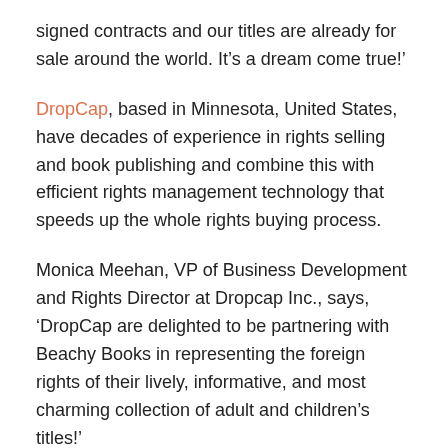signed contracts and our titles are already for sale around the world. It’s a dream come true!’
DropCap, based in Minnesota, United States, have decades of experience in rights selling and book publishing and combine this with efficient rights management technology that speeds up the whole rights buying process.
Monica Meehan, VP of Business Development and Rights Director at Dropcap Inc., says, ‘DropCap are delighted to be partnering with Beachy Books in representing the foreign rights of their lively, informative, and most charming collection of adult and children’s titles!’
Beachy Books is a small, author-friendly, trade publisher that focuses on publishing a select range of children’s books, adult fiction and non-fiction, while keeping print runs to small, sustainable volumes and printing in the UK where